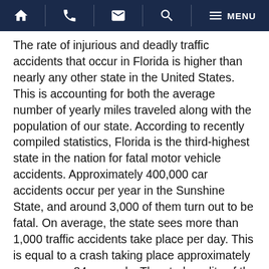Navigation bar with home, phone, email, search, and menu icons
The rate of injurious and deadly traffic accidents that occur in Florida is higher than nearly any other state in the United States. This is accounting for both the average number of yearly miles traveled along with the population of our state. According to recently compiled statistics, Florida is the third-highest state in the nation for fatal motor vehicle accidents. Approximately 400,000 car accidents occur per year in the Sunshine State, and around 3,000 of them turn out to be fatal. On average, the state sees more than 1,000 traffic accidents take place per day. This is equal to a crash taking place approximately once every 84 seconds. The stark reality of the car accident statistics in Florida is this: we have some of the most dangerous roads in the entire nation.